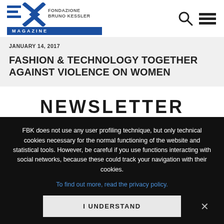FONDAZIONE BRUNO KESSLER MAGAZINE
JANUARY 14, 2017
FASHION & TECHNOLOGY TOGETHER AGAINST VIOLENCE ON WOMEN
NEWSLETTER
FBK does not use any user profiling technique, but only technical cookies necessary for the normal functioning of the website and statistical tools. However, be careful if you use functions interacting with social networks, because these could track your navigation with their cookies.
To find out more, read the privacy policy.
I UNDERSTAND